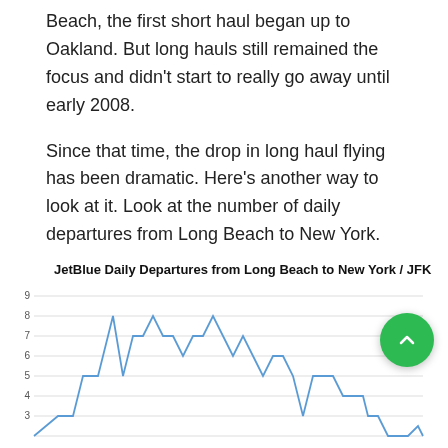Beach, the first short haul began up to Oakland. But long hauls still remained the focus and didn't start to really go away until early 2008.
Since that time, the drop in long haul flying has been dramatic. Here's another way to look at it. Look at the number of daily departures from Long Beach to New York.
[Figure (line-chart): Line chart showing JetBlue daily departures from Long Beach to New York/JFK over time. Values range from about 3 up to 8, with a peak around 8 in the middle period, then declining to near 1 by the end.]